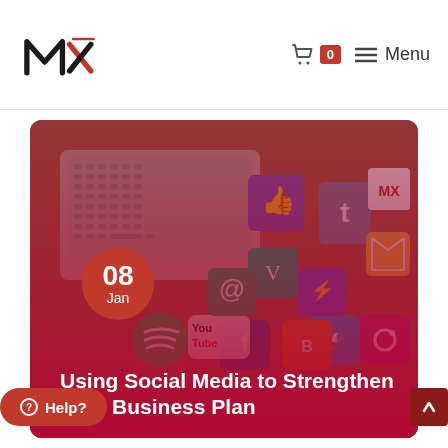MX logo | Cart 0 | Menu
[Figure (photo): Blog card showing a photo of a laptop and social media icon cubes (Facebook, Twitter, Vine, Spotify, YouTube, Blogger, Messenger, Instagram, Tumblr, etc.) on a wooden table, with a dark red gradient overlay. A red circle date badge shows '08 Jan'. The card title reads 'Using Social Media to Strengthen Your Business Plan'.]
Using Social Media to Strengthen Your Business Plan